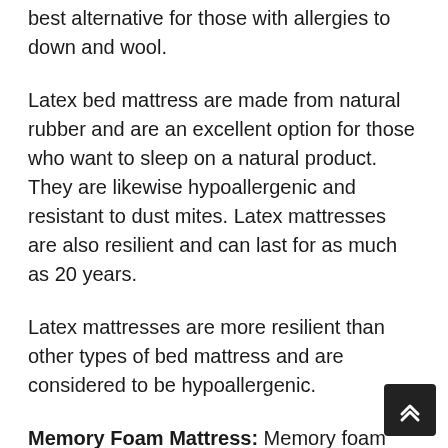best alternative for those with allergies to down and wool.
Latex bed mattress are made from natural rubber and are an excellent option for those who want to sleep on a natural product. They are likewise hypoallergenic and resistant to dust mites. Latex mattresses are also resilient and can last for as much as 20 years.
Latex mattresses are more resilient than other types of bed mattress and are considered to be hypoallergenic.
Memory Foam Mattress: Memory foam mattresses are a great option for individuals who want to sleep on a bed mattress that is comfortable and supportive. Memory foam mattresses are made of polyurethane foam that is designed to contour to the shape of your body. This product is likewise